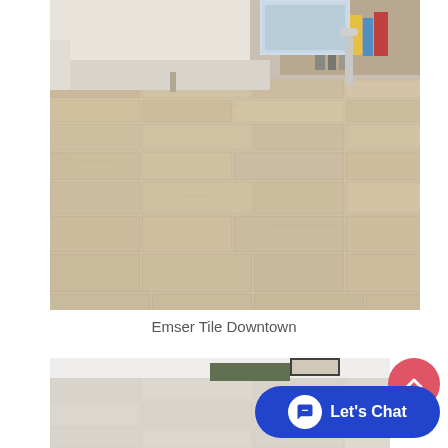[Figure (photo): Interior room photo showing wood-look ceramic tile flooring laid in a staggered brick pattern. The tiles are light tan/beige with wood grain texture. A white modern sofa is visible in the upper left, and a shelf with books and decorative items is in the upper right background.]
Emser Tile Downtown
[Figure (photo): Partial interior room photo showing similar light-colored wood-look tile flooring with white walls and a dark-edged furniture piece visible.]